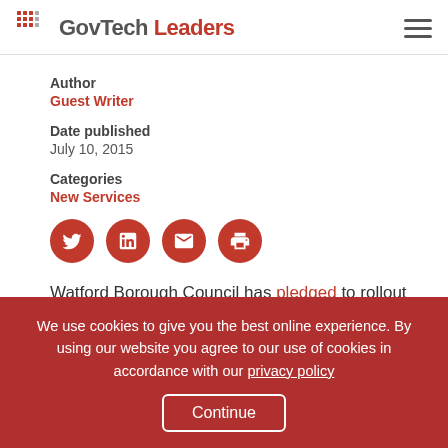GovTech Leaders
Author
Guest Writer
Date published
July 10, 2015
Categories
New Services
[Figure (infographic): Social sharing icons: Twitter, LinkedIn, Email, Print — red circular buttons]
Watford Borough Council has pledged to rollout a new
We use cookies to give you the best online experience. By using our website you agree to our use of cookies in accordance with our privacy policy
Continue